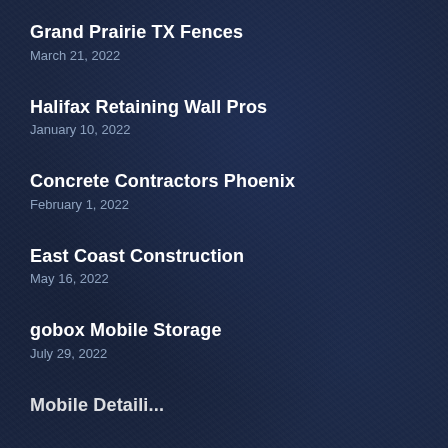Grand Prairie TX Fences
March 21, 2022
Halifax Retaining Wall Pros
January 10, 2022
Concrete Contractors Phoenix
February 1, 2022
East Coast Construction
May 16, 2022
gobox Mobile Storage
July 29, 2022
Mobile Detailing…